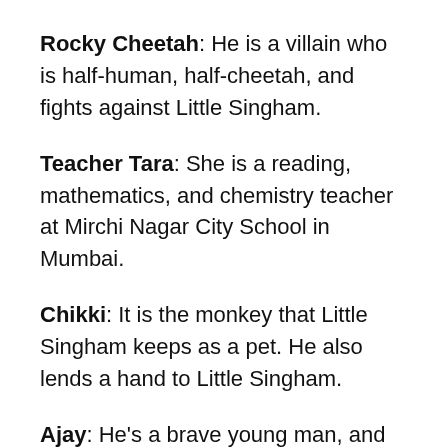Rocky Cheetah: He is a villain who is half-human, half-cheetah, and fights against Little Singham.
Teacher Tara: She is a reading, mathematics, and chemistry teacher at Mirchi Nagar City School in Mumbai.
Chikki: It is the monkey that Little Singham keeps as a pet. He also lends a hand to Little Singham.
Ajay: He's a brave young man, and he calls himself Little Singham.
Lattu and Babli: These characters are self-proclaimed assistants to Little Singham.